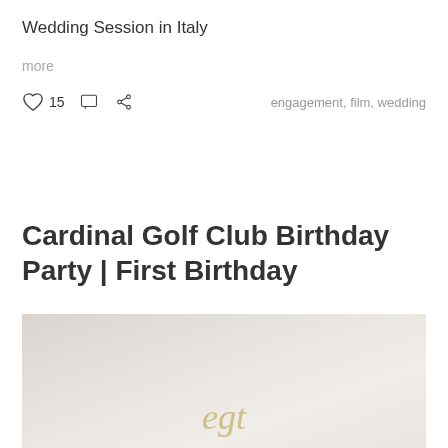Wedding Session in Italy
more
♡ 15
engagement, film, wedding
Cardinal Golf Club Birthday Party | First Birthday
[Figure (photo): Photo from Cardinal Golf Club Birthday Party, showing a light background with a decorative gold/cream script topper or decoration]